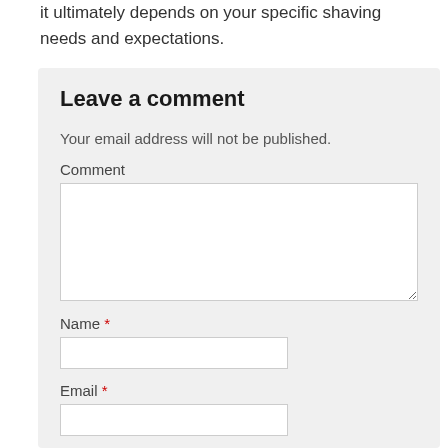it ultimately depends on your specific shaving needs and expectations.
Leave a comment
Your email address will not be published.
Comment
Name *
Email *